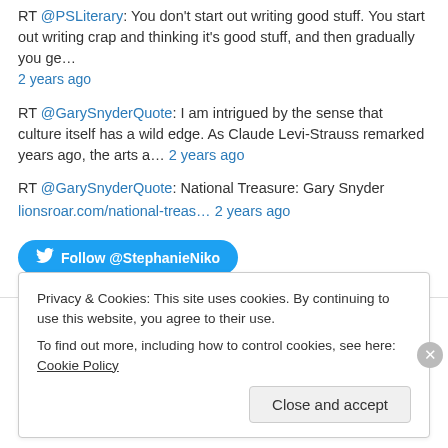RT @PSLiterary: You don't start out writing good stuff. You start out writing crap and thinking it's good stuff, and then gradually you ge… 2 years ago
RT @GarySnyderQuote: I am intrigued by the sense that culture itself has a wild edge. As Claude Levi-Strauss remarked years ago, the arts a… 2 years ago
RT @GarySnyderQuote: National Treasure: Gary Snyder lionsroar.com/national-treas… 2 years ago
Follow @StephanieNiko
Privacy & Cookies: This site uses cookies. By continuing to use this website, you agree to their use.
To find out more, including how to control cookies, see here: Cookie Policy
Close and accept